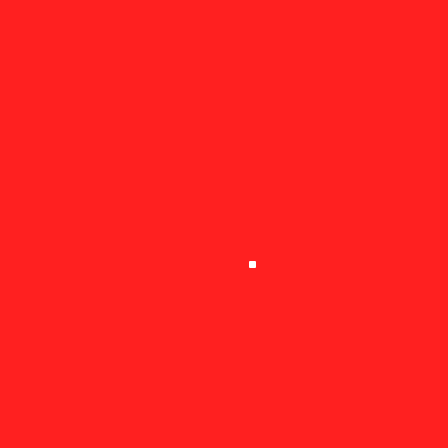[Figure (other): Solid red background filling the entire page with a small white square dot near the center-right area at approximately (249, 261).]